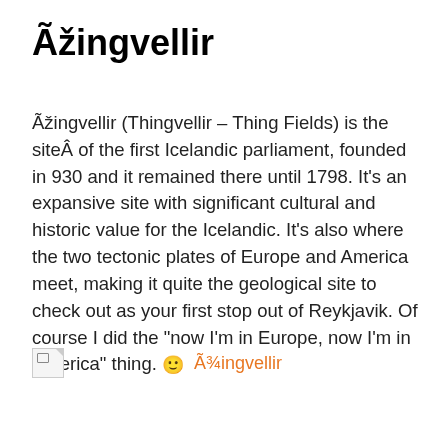Ãžingvellir
Ãžingvellir (Thingvellir – Thing Fields) is the siteÂ of the first Icelandic parliament, founded in 930 and it remained there until 1798. It's an expansive site with significant cultural and historic value for the Icelandic. It's also where the two tectonic plates of Europe and America meet, making it quite the geological site to check out as your first stop out of Reykjavik. Of course I did the "now I'm in Europe, now I'm in America" thing. 🙂
[Figure (other): Broken image placeholder with orange link text reading Ã¾ingvellir]